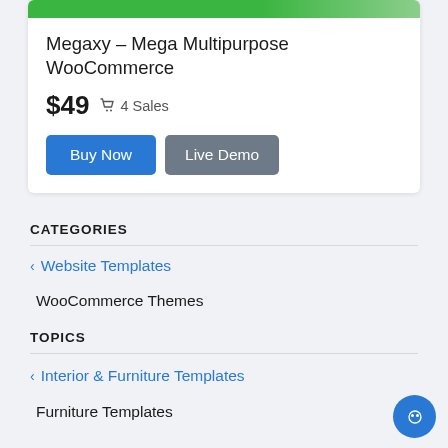[Figure (screenshot): Product banner image strip — green gradient background at top of card]
Megaxy – Mega Multipurpose WooCommerce
$49  🛍 4 Sales
Buy Now | Live Demo
CATEGORIES
< Website Templates
WooCommerce Themes
TOPICS
< Interior & Furniture Templates
Furniture Templates